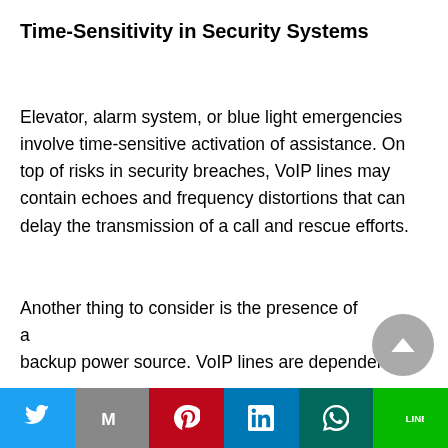Time-Sensitivity in Security Systems
Elevator, alarm system, or blue light emergencies involve time-sensitive activation of assistance. On top of risks in security breaches, VoIP lines may contain echoes and frequency distortions that can delay the transmission of a call and rescue efforts.
Another thing to consider is the presence of a backup power source. VoIP lines are dependent on
Social share bar: Twitter, Gmail, Pinterest, LinkedIn, WhatsApp, LINE